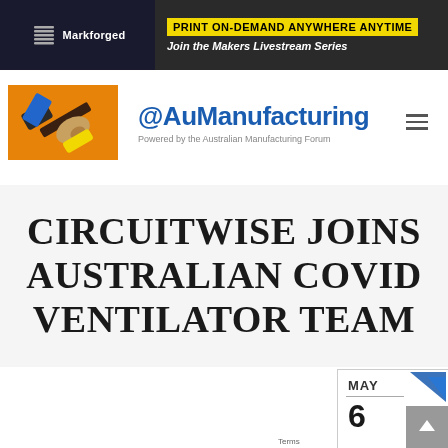[Figure (screenshot): Markforged banner advertisement: 'PRINT ON-DEMAND ANYWHERE ANYTIME – Join the Makers Livestream Series' with Markforged logo on dark background and yellow headline bar]
[Figure (logo): AuManufacturing logo: illustration of hand holding hammer on orange background, with '@AuManufacturing' text in blue and 'Powered by the Australian Manufacturing Forum' subtitle]
CIRCUITWISE JOINS AUSTRALIAN COVID VENTILATOR TEAM
[Figure (other): Calendar widget showing MAY 6 with blue arrow decoration and scroll-to-top button]